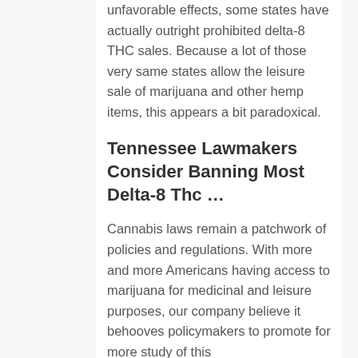unfavorable effects, some states have actually outright prohibited delta-8 THC sales. Because a lot of those very same states allow the leisure sale of marijuana and other hemp items, this appears a bit paradoxical.
Tennessee Lawmakers Consider Banning Most Delta-8 Thc …
Cannabis laws remain a patchwork of policies and regulations. With more and more Americans having access to marijuana for medicinal and leisure purposes, our company believe it behooves policymakers to promote for more study of this